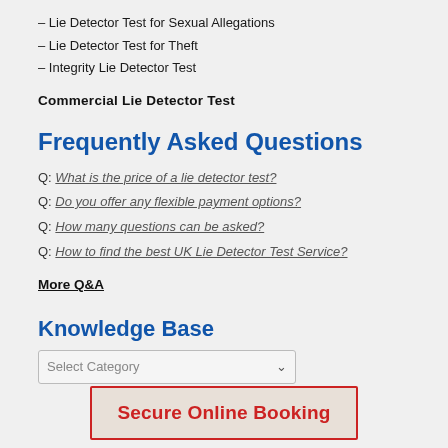– Lie Detector Test for Sexual Allegations
– Lie Detector Test for Theft
– Integrity Lie Detector Test
Commercial Lie Detector Test
Frequently Asked Questions
Q: What is the price of a lie detector test?
Q: Do you offer any flexible payment options?
Q: How many questions can be asked?
Q: How to find the best UK Lie Detector Test Service?
More Q&A
Knowledge Base
Select Category
Secure Online Booking